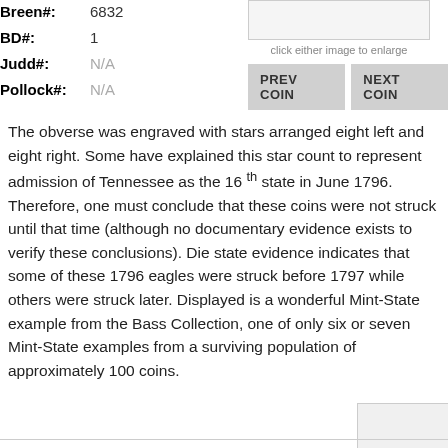Breen#: 6832
BD#: 1
Judd#: N/A
Pollock#: N/A
click either image to enlarge
PREV COIN
NEXT COIN
The obverse was engraved with stars arranged eight left and eight right. Some have explained this star count to represent admission of Tennessee as the 16 th state in June 1796. Therefore, one must conclude that these coins were not struck until that time (although no documentary evidence exists to verify these conclusions). Die state evidence indicates that some of these 1796 eagles were struck before 1797 while others were struck later. Displayed is a wonderful Mint-State example from the Bass Collection, one of only six or seven Mint-State examples from a surviving population of approximately 100 coins.